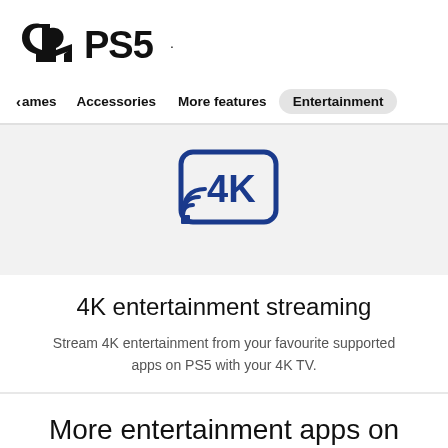[Figure (logo): PlayStation PS5 logo — PlayStation symbol followed by PS5 text]
Games   Accessories   More features   Entertainment
[Figure (illustration): 4K streaming icon: a rounded square with '4K' text inside and wifi/cast waves in the bottom left corner, in dark blue color]
4K entertainment streaming
Stream 4K entertainment from your favourite supported apps on PS5 with your 4K TV.
More entertainment apps on